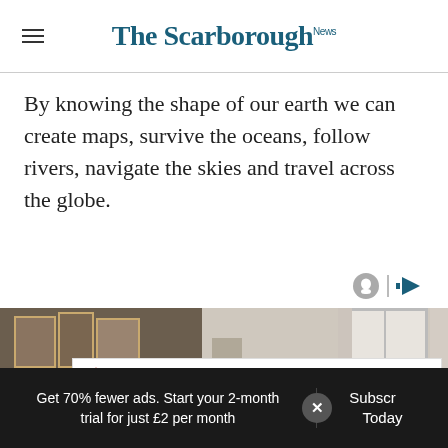The Scarborough News
By knowing the shape of our earth we can create maps, survive the oceans, follow rivers, navigate the skies and travel across the globe.
[Figure (photo): Interior room photo showing framed wall art, lamp, and window with curtains]
[Figure (advertisement): NEKOOSA advertisement banner with logo and REQUEST A SAMPLE call-to-action button]
Get 70% fewer ads. Start your 2-month trial for just £2 per month
Subscribe Today